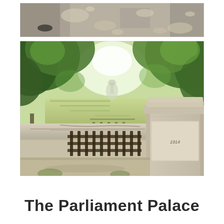[Figure (photo): Top portion of a photo showing a shadowed road or path surface with dappled light]
[Figure (photo): A stone bridge balustrade in the foreground with a green algae-covered canal or pond stretching into the distance lined with lush green trees, with a fountain or statue visible in the background. An inscription reading '1914' is visible on the stone pillar.]
The Parliament Palace